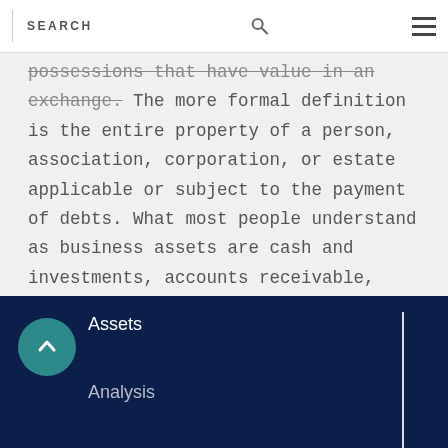SEARCH
possessions that have value in an exchange. The more formal definition is the entire property of a person, association, corporation, or estate applicable or subject to the payment of debts. What most people understand as business assets are cash and investments, accounts receivable, inventory, office equipment, plant and equipment, etc.
Assets
Analysis